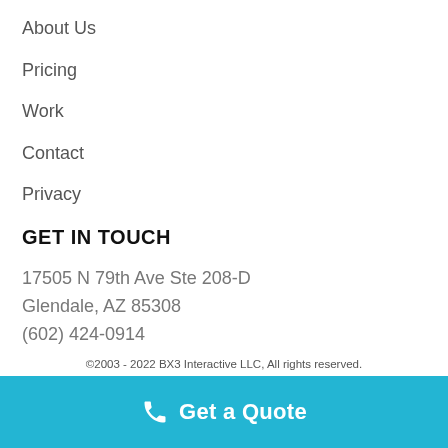About Us
Pricing
Work
Contact
Privacy
GET IN TOUCH
17505 N 79th Ave Ste 208-D
Glendale, AZ 85308
(602) 424-0914
©2003 - 2022 BX3 Interactive LLC, All rights reserved.
Get a Quote